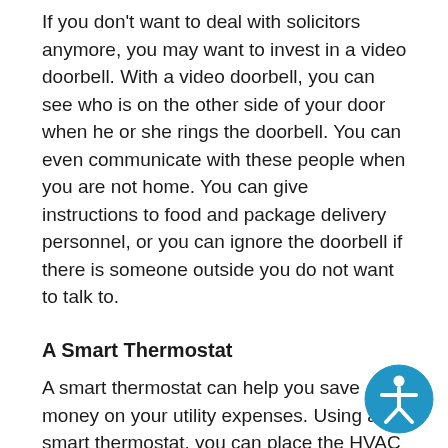If you don't want to deal with solicitors anymore, you may want to invest in a video doorbell. With a video doorbell, you can see who is on the other side of your door when he or she rings the doorbell. You can even communicate with these people when you are not home. You can give instructions to food and package delivery personnel, or you can ignore the doorbell if there is someone outside you do not want to talk to.
A Smart Thermostat
A smart thermostat can help you save money on your utility expenses. Using a smart thermostat, you can place the HVAC system on a predetermined schedule, ensuring that it does not work as hard when you are not home. A sma...